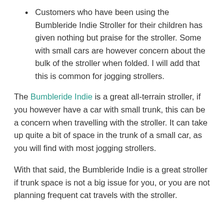Customers who have been using the Bumbleride Indie Stroller for their children has given nothing but praise for the stroller. Some with small cars are however concern about the bulk of the stroller when folded.  I will add that this is common for jogging strollers.
The Bumbleride Indie is a great all-terrain stroller, if you however have a car with small trunk, this can be a concern when travelling with the stroller.  It can take up quite a bit of space in the trunk of a small car, as you will find with most jogging strollers.
With that said, the Bumbleride Indie is a great stroller if trunk space is not a big issue for you, or you are not planning frequent cat travels with the stroller.